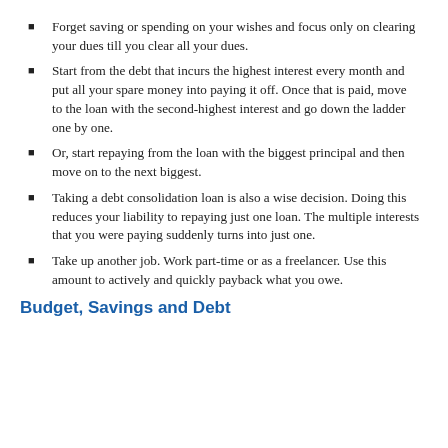Forget saving or spending on your wishes and focus only on clearing your dues till you clear all your dues.
Start from the debt that incurs the highest interest every month and put all your spare money into paying it off. Once that is paid, move to the loan with the second-highest interest and go down the ladder one by one.
Or, start repaying from the loan with the biggest principal and then move on to the next biggest.
Taking a debt consolidation loan is also a wise decision. Doing this reduces your liability to repaying just one loan. The multiple interests that you were paying suddenly turns into just one.
Take up another job. Work part-time or as a freelancer. Use this amount to actively and quickly payback what you owe.
Budget, Savings and Debt